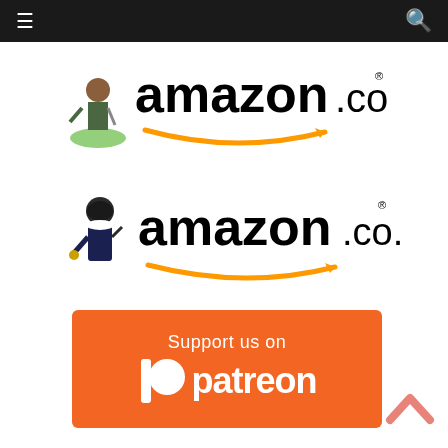Navigation bar with menu and search icons
[Figure (logo): Amazon.com logo with small toy soldier figurine decoration]
[Figure (logo): Amazon.co.uk logo with small Churchill figurine decoration]
[Figure (logo): Support us on Patreon button - orange rectangle with Patreon logo and text]
[Figure (other): Back to top chevron arrow in salmon/pink color]